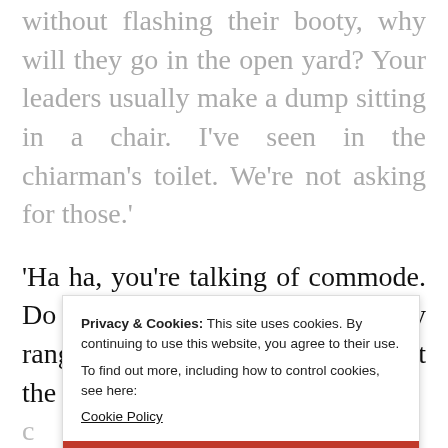without flashing their booty, why will they go in the open yard? Your leaders usually make a dump sitting in a chair. I've seen in the chiarman's toilet. We're not asking for those.'
'Ha ha, you're talking of commode. Do you know their prices? They range between one to two lakh. But the fact is that our leaders can...
Privacy & Cookies: This site uses cookies. By continuing to use this website, you agree to their use. To find out more, including how to control cookies, see here: Cookie Policy
CLOSE AND ACCEPT